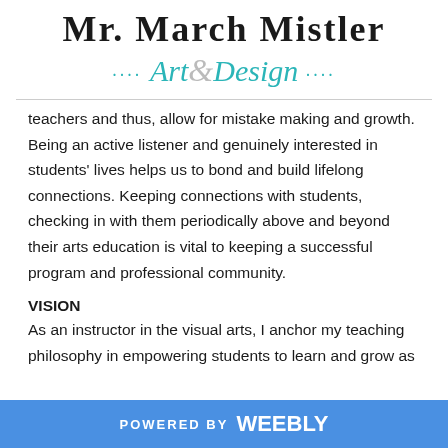Mr. March Mistler
.... Art&Design ....
teachers and thus, allow for mistake making and growth. Being an active listener and genuinely interested in students' lives helps us to bond and build lifelong connections. Keeping connections with students, checking in with them periodically above and beyond their arts education is vital to keeping a successful program and professional community.
VISION
As an instructor in the visual arts, I anchor my teaching philosophy in empowering students to learn and grow as
POWERED BY weebly